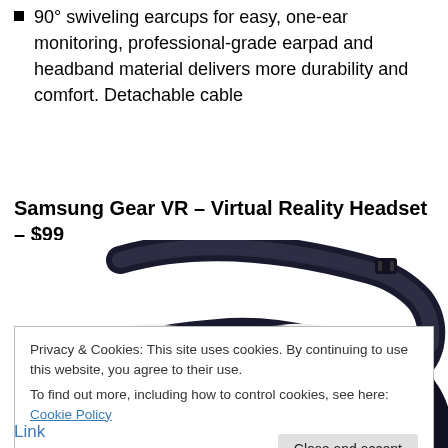90° swiveling earcups for easy, one-ear monitoring, professional-grade earpad and headband material delivers more durability and comfort. Detachable cable
Samsung Gear VR – Virtual Reality Headset – $99
[Figure (photo): Samsung Gear VR virtual reality headset shown from the front-top angle, white and dark navy/black color scheme, with adjustable head strap visible.]
Privacy & Cookies: This site uses cookies. By continuing to use this website, you agree to their use.
To find out more, including how to control cookies, see here: Cookie Policy
[Close and accept button]
Link